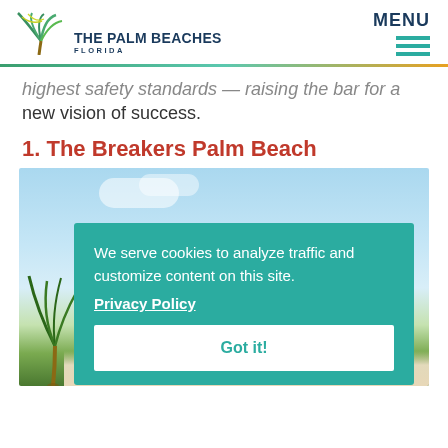[Figure (logo): The Palm Beaches Florida logo with palm tree graphic]
MENU
highest safety standards — raising the bar for a new vision of success.
1. The Breakers Palm Beach
[Figure (photo): Photo of The Breakers Palm Beach with palm trees and blue sky]
We serve cookies to analyze traffic and customize content on this site.
Privacy Policy
Got it!